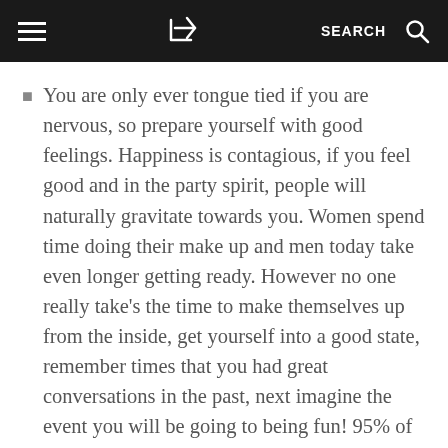≡  [share]  SEARCH  [search icon]
You are only ever tongue tied if you are nervous, so prepare yourself with good feelings. Happiness is contagious, if you feel good and in the party spirit, people will naturally gravitate towards you. Women spend time doing their make up and men today take even longer getting ready. However no one really take's the time to make themselves up from the inside, get yourself into a good state, remember times that you had great conversations in the past, next imagine the event you will be going to being fun! 95% of what we feel is made up of how we use our own imagination and how we communicate with ourselves, so see the event as a success…then think of things that make you laugh and most of all do not